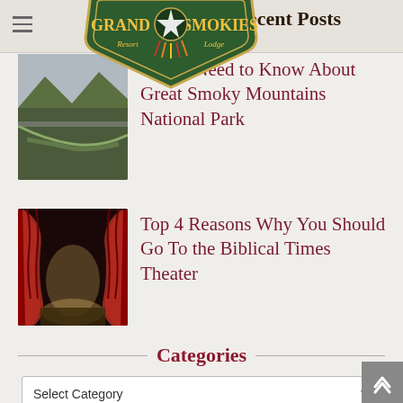Recent Posts
[Figure (logo): Grand Smokies Resort Lodge logo with green background and dreamcatcher]
You Need to Know About Great Smoky Mountains National Park
[Figure (photo): Road/path image related to Great Smoky Mountains National Park]
Top 4 Reasons Why You Should Go To the Biblical Times Theater
[Figure (photo): Red theater curtains on a stage]
Categories
Select Category